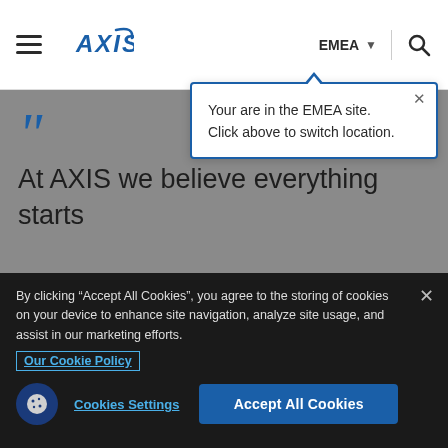AXIS | EMEA
Your are in the EMEA site. Click above to switch location.
At AXIS we believe everything starts with education. The aim is to create a world where
By clicking “Accept All Cookies”, you agree to the storing of cookies on your device to enhance site navigation, analyze site usage, and assist in our marketing efforts. Our Cookie Policy
Cookies Settings
Accept All Cookies